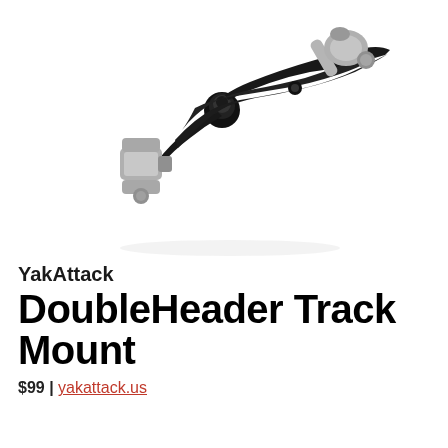[Figure (photo): YakAttack DoubleHeader Track Mount product photo showing a black track mount hardware piece with gray kayak accessories attached on left and upper right, on white background]
YakAttack
DoubleHeader Track Mount
$99 | yakattack.us